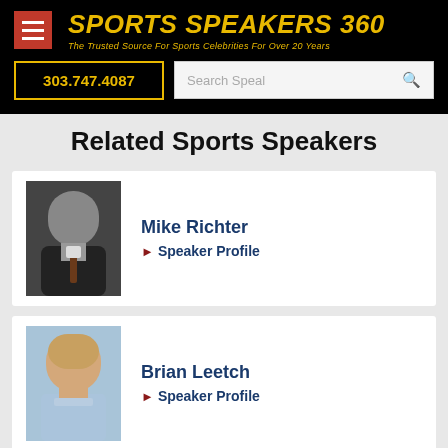SPORTS SPEAKERS 360 — The Trusted Source For Sports Celebrities For Over 20 Years
Related Sports Speakers
[Figure (photo): Headshot of Mike Richter in a dark suit and tie]
Mike Richter
▶ Speaker Profile
[Figure (photo): Headshot of Brian Leetch in a light blue shirt, light blue background]
Brian Leetch
▶ Speaker Profile